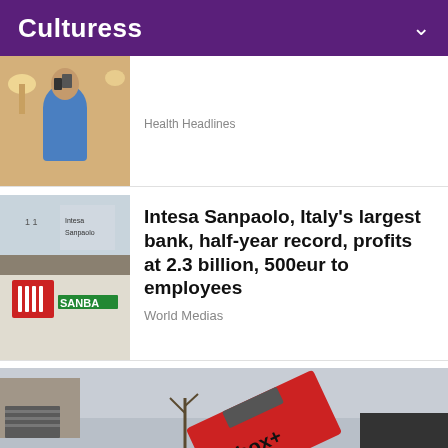Culturess
[Figure (photo): Person in blue shirt taking a selfie or holding phone, warm indoor lighting]
Health Headlines
[Figure (photo): Intesa Sanpaolo bank sign with logo]
Intesa Sanpaolo, Italy's largest bank, half-year record, profits at 2.3 billion, 500eur to employees
World Medias
[Figure (photo): redbox+ dumpster being delivered by a truck near a brick building]